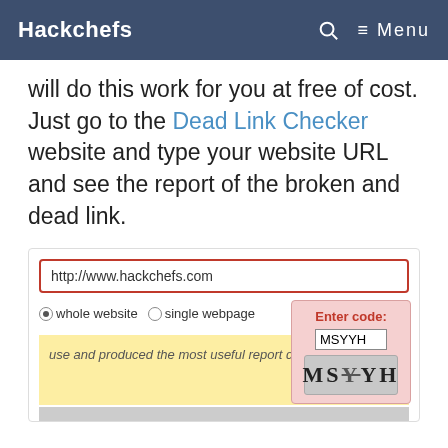Hackchefs  Menu
will do this work for you at free of cost. Just go to the Dead Link Checker website and type your website URL and see the report of the broken and dead link.
[Figure (screenshot): Screenshot of Dead Link Checker tool interface showing URL input field with http://www.hackchefs.com, whole website and single webpage radio buttons, a check button, a yellow testimonial box, and an Enter code CAPTCHA box showing MSYYH]